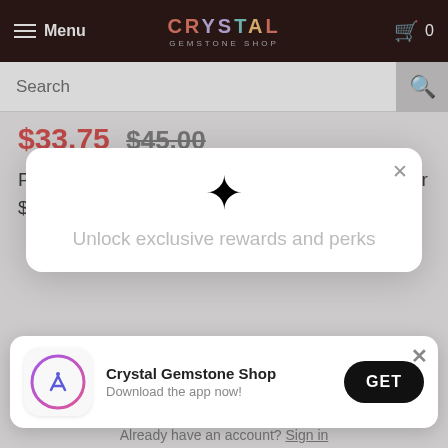Menu | CRYSTAL GEMSTONE SHOP | 0
Search
$33.75  $45.00
Pay in 4 interest-free installments for orders over $50 with shopPay
[Figure (screenshot): Rewards modal popup with sparkle icon saying 'Unlock exclusive rewards and perks' with a close button]
[Figure (screenshot): App install banner for Crystal Gemstone Shop with App Store icon, text 'Crystal Gemstone Shop - Download the app now!' and GET button]
Already have an account? Sign in